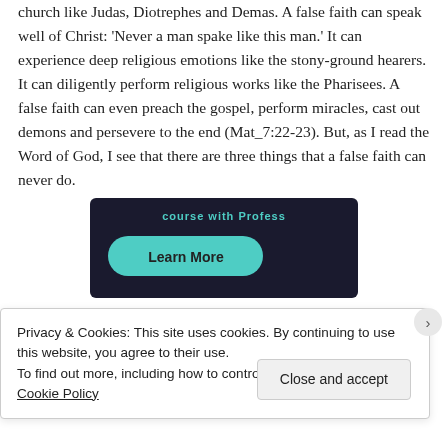church like Judas, Diotrephes and Demas. A false faith can speak well of Christ: 'Never a man spake like this man.' It can experience deep religious emotions like the stony-ground hearers. It can diligently perform religious works like the Pharisees. A false faith can even preach the gospel, perform miracles, cast out demons and persevere to the end (Mat_7:22-23). But, as I read the Word of God, I see that there are three things that a false faith can never do.
[Figure (screenshot): Dark banner with teal text and a teal 'Learn More' pill button]
Privacy & Cookies: This site uses cookies. By continuing to use this website, you agree to their use.
To find out more, including how to control cookies, see here: Cookie Policy
Close and accept